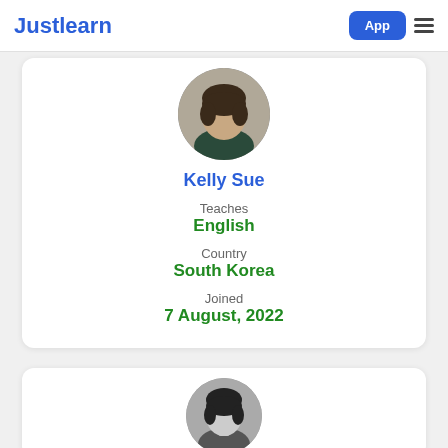Justlearn App
[Figure (photo): Circular profile photo of Kelly Sue, a person wearing a dark sweater]
Kelly Sue
Teaches
English
Country
South Korea
Joined
7 August, 2022
[Figure (photo): Circular profile photo of a second tutor, partially visible at bottom of page, black and white]